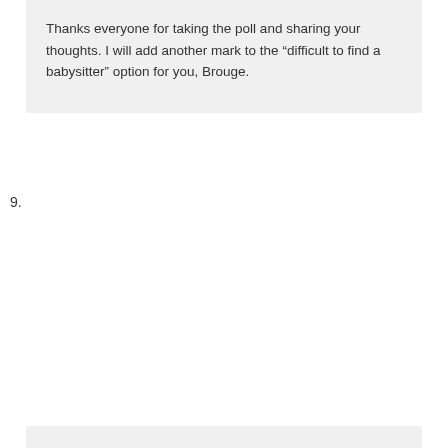Thanks everyone for taking the poll and sharing your thoughts. I will add another mark to the “difficult to find a babysitter” option for you, Brouge.
9.